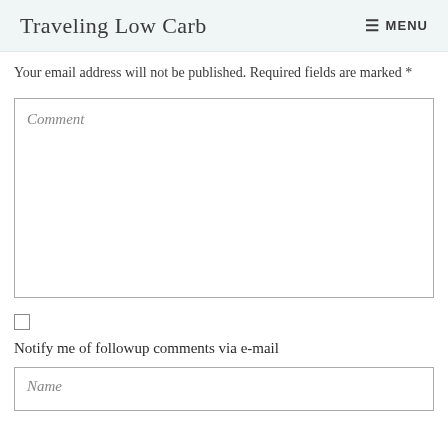Traveling Low Carb  MENU
Your email address will not be published. Required fields are marked *
[Figure (screenshot): Comment text area input field with italic placeholder text 'Comment']
[Figure (screenshot): Checkbox (unchecked)]
Notify me of followup comments via e-mail
[Figure (screenshot): Name text input field with italic placeholder text 'Name']